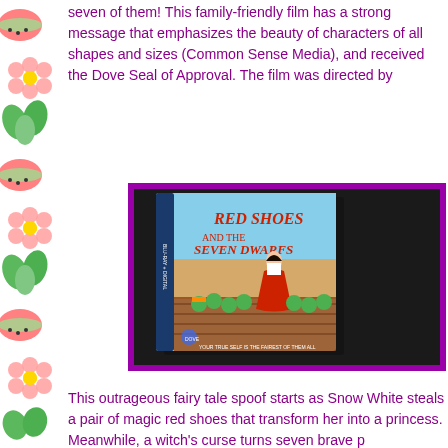seven of them! This family-friendly film has a strong message that emphasizes the beauty of characters of all shapes and sizes (Common Sense Media), and received the Dove Seal of Approval. The film was directed by
[Figure (photo): Photo of the Red Shoes and the Seven Dwarfs Blu-ray DVD case on a dark table surface, shown at an angle. The DVD cover shows animated characters including a girl in a red dress and several small dwarf characters.]
This outrageous fairy tale spoof starts as Snow White steals a pair of magic red shoes that transform her into a princess. Meanwhile, a witch's curse turns seven brave p